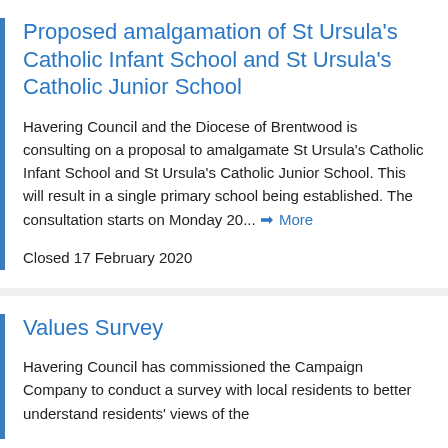Proposed amalgamation of St Ursula's Catholic Infant School and St Ursula's Catholic Junior School
Havering Council and the Diocese of Brentwood is consulting on a proposal to amalgamate St Ursula's Catholic Infant School and St Ursula's Catholic Junior School. This will result in a single primary school being established. The consultation starts on Monday 20... ➔ More
Closed 17 February 2020
Values Survey
Havering Council has commissioned the Campaign Company to conduct a survey with local residents to better understand residents' views of the